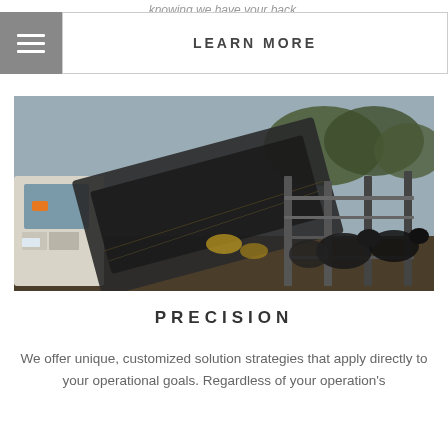knowing we have your back.
LEARN MORE
[Figure (photo): Heavy equipment truck with conveyor belt or auger mechanism, with dark cattle pen structures and trees in the background — an agricultural/livestock feeding operation scene.]
PRECISION
We offer unique, customized solution strategies that apply directly to your operational goals. Regardless of your operation's